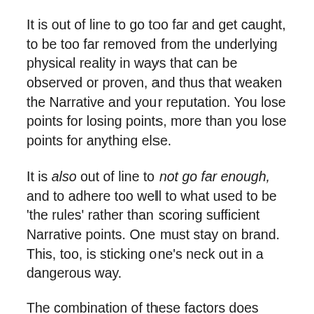It is out of line to go too far and get caught, to be too far removed from the underlying physical reality in ways that can be observed or proven, and thus that weaken the Narrative and your reputation. You lose points for losing points, more than you lose points for anything else.
It is also out of line to not go far enough, and to adhere too well to what used to be ‘the rules’ rather than scoring sufficient Narrative points. One must stay on brand. This, too, is sticking one’s neck out in a dangerous way.
The combination of these factors does often mean that there is effectively a calibrated response to any given situation. The details of what is said will be an intuitively but skillfully chosen balance of exactly what claims are made with exactly what level of specificity and rigor. Thus the chosen details of what is claimed and said actually can